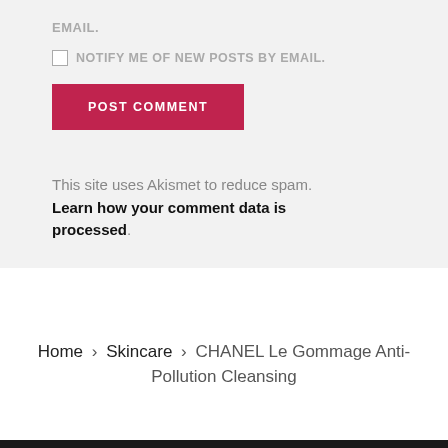EMAIL.
NOTIFY ME OF NEW POSTS BY EMAIL.
POST COMMENT
This site uses Akismet to reduce spam. Learn how your comment data is processed.
Home › Skincare › CHANEL Le Gommage Anti-Pollution Cleansing